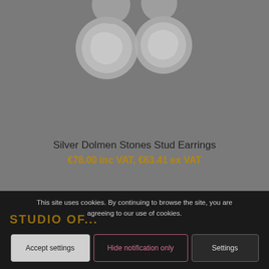[Figure (photo): Silver stud earrings with round stone-like design on grey background]
Silver Dolmen Stones Stud Earrings
€78.00 inc VAT, €63.41 ex VAT
This site uses cookies. By continuing to browse the site, you are agreeing to our use of cookies.
STUDIO OF...
Accept settings
Hide notification only
Settings